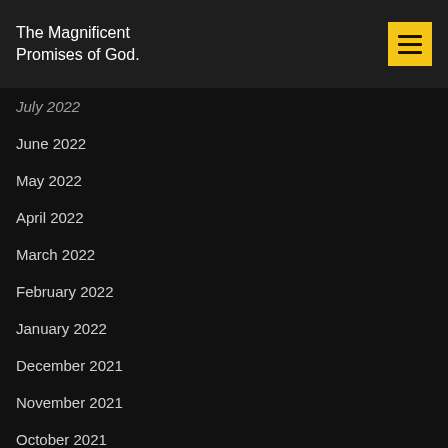The Magnificent Promises of God.
July 2022
June 2022
May 2022
April 2022
March 2022
February 2022
January 2022
December 2021
November 2021
October 2021
September 2021
August 2021